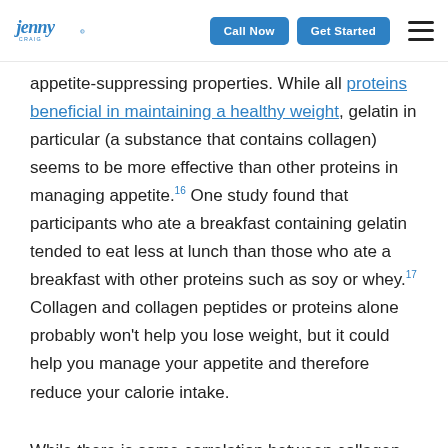Jenny Craig | Call Now | Get Started
appetite-suppressing properties. While all proteins beneficial in maintaining a healthy weight, gelatin in particular (a substance that contains collagen) seems to be more effective than other proteins in managing appetite.16 One study found that participants who ate a breakfast containing gelatin tended to eat less at lunch than those who ate a breakfast with other proteins such as soy or whey.17 Collagen and collagen peptides or proteins alone probably won't help you lose weight, but it could help you manage your appetite and therefore reduce your calorie intake.
While there is some correlation between collagen intake and weight management, it's important to note this isn't a